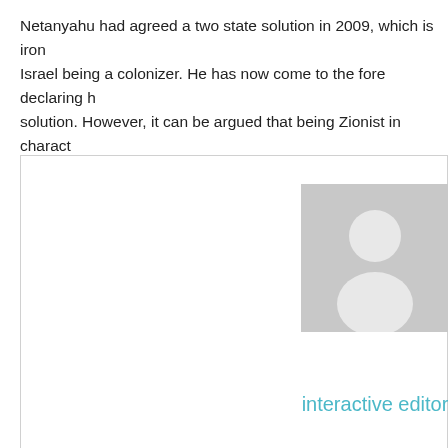Netanyahu had agreed a two state solution in 2009, which is ironic given Israel being a colonizer. He has now come to the fore declaring his solution. However, it can be argued that being Zionist in character, a colonialist state acknowledging or denying a two-state solution perpetuates violence, which started right at the beginning of the formation o
[Figure (illustration): Author box with a gray placeholder avatar (silhouette of a person) and the text 'interactive editor' in cyan below the avatar]
Posted in: Uncategorized
Subscribe
Enter your email address to subscribe to this blog and receive